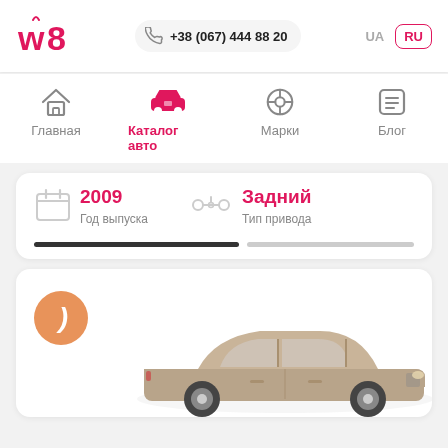w8 logo | +38 (067) 444 88 20 | UA | RU
Главная
Каталог авто
Марки
Блог
2009 — Год выпуска
Задний — Тип привода
[Figure (photo): Ford Mercury Grand Marquis sedan, tan/brown color, side view]